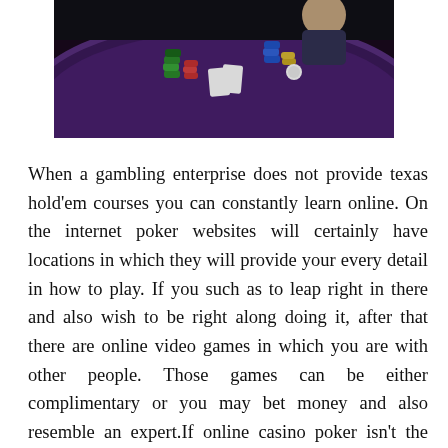[Figure (photo): Photo of a casino poker table with poker chips and a dealer/player visible from behind, shot from above showing a purple felt poker table surface.]
When a gambling enterprise does not provide texas hold'em courses you can constantly learn online. On the internet poker websites will certainly have locations in which they will provide your every detail in how to play. If you such as to leap right in there and also wish to be right along doing it, after that there are online video games in which you are with other people. Those games can be either complimentary or you may bet money and also resemble an expert.If online casino poker isn't the location for you, then there is one more method. When you get a texas hold'em deck from a store, there will certainly be instructions on how to play the video game that feature the deck. They will be